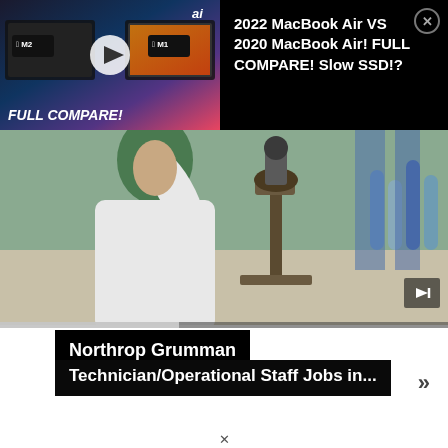[Figure (screenshot): YouTube video thumbnail showing MacBook Air M2 vs M1 comparison with text FULL COMPARE! and play button]
2022 MacBook Air VS 2020 MacBook Air! FULL COMPARE! Slow SSD!?
[Figure (photo): Lab scene with person in hijab and lab coat using a microscope, blue and white test tubes in background]
Northrop Grumman
Technician/Operational Staff Jobs in...